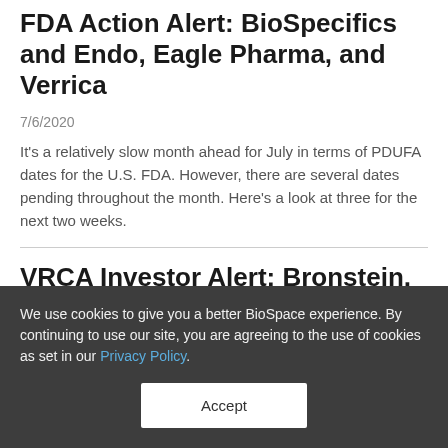FDA Action Alert: BioSpecifics and Endo, Eagle Pharma, and Verrica
7/6/2020
It's a relatively slow month ahead for July in terms of PDUFA dates for the U.S. FDA. However, there are several dates pending throughout the month. Here's a look at three for the next two weeks.
VRCA Investor Alert: Bronstein, Gewirtz &amp; Grossman, LLC Announces Investigation of Verrica Pharmaceuticals
We use cookies to give you a better BioSpace experience. By continuing to use our site, you are agreeing to the use of cookies as set in our Privacy Policy.